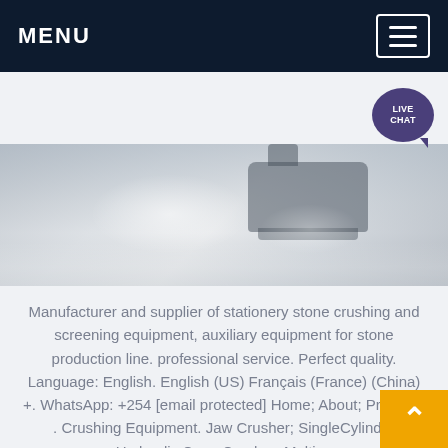MENU
[Figure (photo): Industrial stone crushing machinery on a warehouse/factory floor, showing heavy equipment with reflective floor surface.]
Stone Crushing Equipment, Jaw...
Manufacturer and supplier of stationery stone crushing and screening equipment, auxiliary equipment for stone production line. professional service. Perfect quality. Language: English. English (US) Français (France) (China) +. WhatsApp: +254 [email protected] Home; About; Products . Crushing Equipment. Jaw Crusher; SingleCylinder Hydraulic Cone Crusher; Multi ...